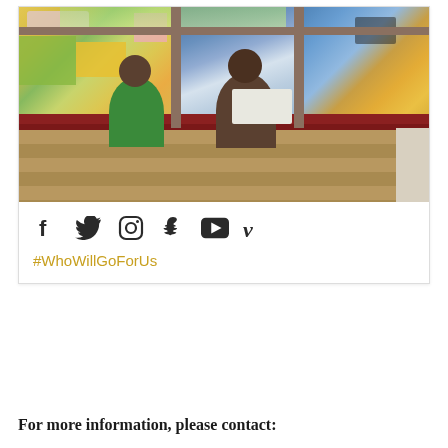[Figure (photo): Two workers on scaffolding installing or restoring a large colorful stained glass window. Workers are seen from behind, one in a green shirt. The stained glass features vivid blues, yellows, greens, and oranges. Scaffolding with red metal bars and wooden platform is visible.]
[Figure (infographic): Row of social media icons: Facebook, Twitter, Instagram, Snapchat, YouTube, Vimeo]
#WhoWillGoForUs
For more information, please contact: